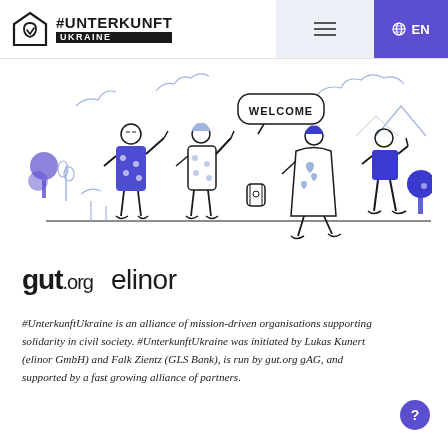#UNTERKUNFT UKRAINE — Navigation with menu icon and EN language selector
[Figure (illustration): Line illustration of people waving and walking with trees and plants. A speech bubble says 'WELCOME'. The characters are drawn in blue and white line art style.]
[Figure (logo): gut.org and elinor partner logos side by side]
#UnterkunftUkraine is an alliance of mission-driven organisations supporting solidarity in civil society. #UnterkunftUkraine was initiated by Lukas Kunert (elinor GmbH) and Falk Zientz (GLS Bank), is run by gut.org gAG, and supported by a fast growing alliance of partners.